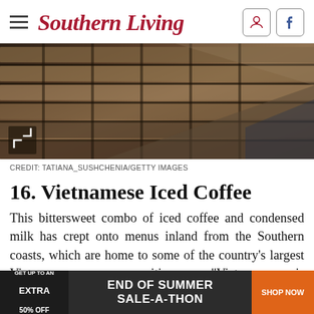Southern Living
[Figure (photo): Close-up photo of weathered wooden slats on an outdoor table or bench, with dark gaps between boards, warm brown tones.]
CREDIT: TATIANA_SUSHCHENIA/GETTY IMAGES
16. Vietnamese Iced Coffee
This bittersweet combo of iced coffee and condensed milk has crept onto menus inland from the Southern coasts, which are home to some of the country's largest Vietnamese communities. "Vietnam is a...
[Figure (infographic): Advertisement banner: GET UP TO AN EXTRA 50% OFF | END OF SUMMER SALE-A-THON | SHOP NOW]